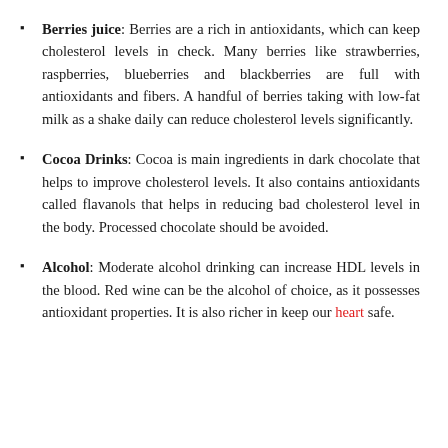Berries juice: Berries are a rich in antioxidants, which can keep cholesterol levels in check. Many berries like strawberries, raspberries, blueberries and blackberries are full with antioxidants and fibers. A handful of berries taking with low-fat milk as a shake daily can reduce cholesterol levels significantly.
Cocoa Drinks: Cocoa is main ingredients in dark chocolate that helps to improve cholesterol levels. It also contains antioxidants called flavanols that helps in reducing bad cholesterol level in the body. Processed chocolate should be avoided.
Alcohol: Moderate alcohol drinking can increase HDL levels in the blood. Red wine can be the alcohol of choice, as it possesses antioxidant properties. It is also richer in keep our heart safe.